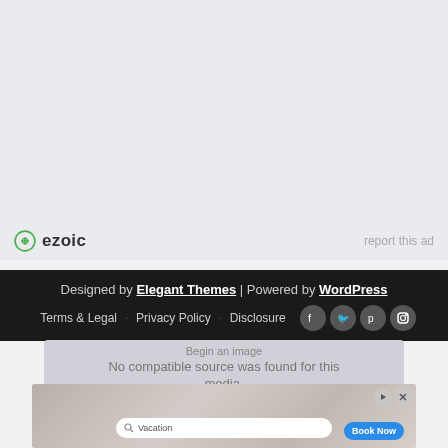[Figure (other): Ezoic ad placeholder area with light gray background]
ezoic   report this ad
Designed by Elegant Themes | Powered by WordPress  Terms & Legal  Privacy Policy  Disclosure
No compatible source was found for this media.
[Figure (screenshot): Advertisement banner showing vacation booking with kitchen scene and search bar with 'Vacation' query and Book Now button]